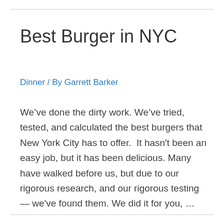Best Burger in NYC
Dinner / By Garrett Barker
We’ve done the dirty work. We’ve tried, tested, and calculated the best burgers that New York City has to offer.  It hasn't been an easy job, but it has been delicious. Many have walked before us, but due to our rigorous research, and our rigorous testing — we've found them. We did it for you, …
Read More »